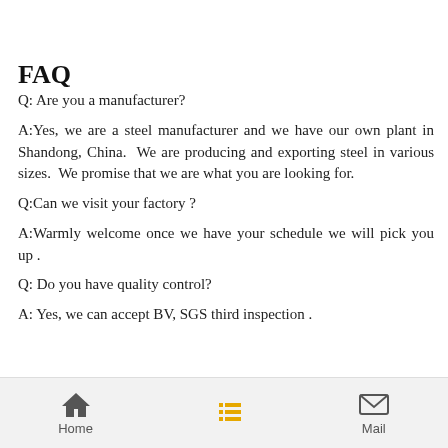FAQ
Q: Are you a manufacturer?
A:Yes, we are a steel manufacturer and we have our own plant in Shandong, China.  We are producing and exporting steel in various sizes.  We promise that we are what you are looking for.
Q:Can we visit your factory ?
A:Warmly welcome once we have your schedule we will pick you up .
Q: Do you have quality control?
A: Yes, we can accept BV, SGS third inspection .
Home   Mail